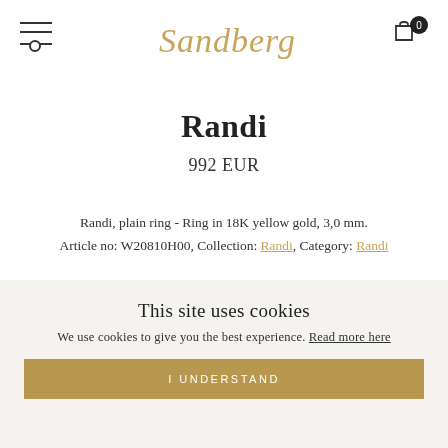Sandberg
Randi
992 EUR
Randi, plain ring - Ring in 18K yellow gold, 3,0 mm.
Article no: W20810H00, Collection: Randi, Category: Randi
MATERIAL
Yellow Gold   Rose Gold   White Gold
This site uses cookies
We use cookies to give you the best experience. Read more here
I UNDERSTAND